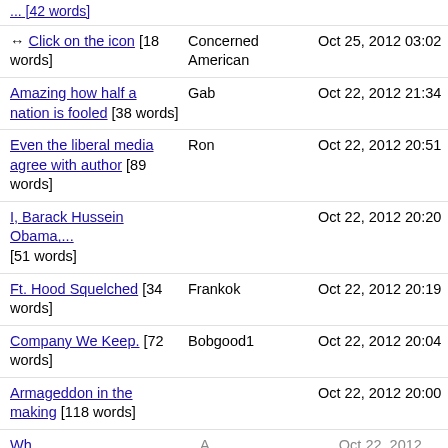↔ Click on the icon [18 words] | Concerned American | Oct 25, 2012 03:02
Amazing how half a nation is fooled [38 words] | Gab | Oct 22, 2012 21:34
Even the liberal media agree with author [89 words] | Ron | Oct 22, 2012 20:51
I, Barack Hussein Obama,... [51 words] | | Oct 22, 2012 20:20
Ft. Hood Squelched [34 words] | Frankok | Oct 22, 2012 20:19
Company We Keep. [72 words] | Bobgood1 | Oct 22, 2012 20:04
Armageddon in the making [118 words] | | Oct 22, 2012 20:00
Wh... | ... | Oct 22, 2012 ...